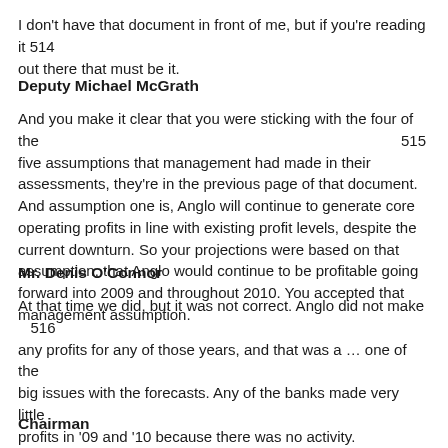I don't have that document in front of me, but if you're reading it 514 out there that must be it.
Deputy Michael McGrath
And you make it clear that you were sticking with the four of the 515 five assumptions that management had made in their assessments, they're in the previous page of that document. And assumption one is, Anglo will continue to generate core operating profits in line with existing profit levels, despite the current downturn. So your projections were based on that assumption, that Anglo would continue to be profitable going forward into 2009 and throughout 2010. You accepted that management assumption.
Mr. Denis O'Connor
At that time we did, but it was not correct. Anglo did not make 516 any profits for any of those years, and that was a … one of the big issues with the forecasts. Any of the banks made very little profits in '09 and '10 because there was no activity.
Chairman